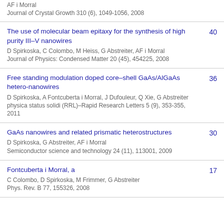AF i Morral
Journal of Crystal Growth 310 (6), 1049-1056, 2008
The use of molecular beam epitaxy for the synthesis of high purity III–V nanowires | D Spirkoska, C Colombo, M Heiss, G Abstreiter, AF i Morral | Journal of Physics: Condensed Matter 20 (45), 454225, 2008 | 40
Free standing modulation doped core–shell GaAs/AlGaAs hetero-nanowires | D Spirkoska, A Fontcuberta i Morral, J Dufouleur, Q Xie, G Abstreiter | physica status solidi (RRL)–Rapid Research Letters 5 (9), 353-355, 2011 | 36
GaAs nanowires and related prismatic heterostructures | D Spirkoska, G Abstreiter, AF i Morral | Semiconductor science and technology 24 (11), 113001, 2009 | 30
Fontcuberta i Morral, a | C Colombo, D Spirkoska, M Frimmer, G Abstreiter | Phys. Rev. B 77, 155326, 2008 | 17